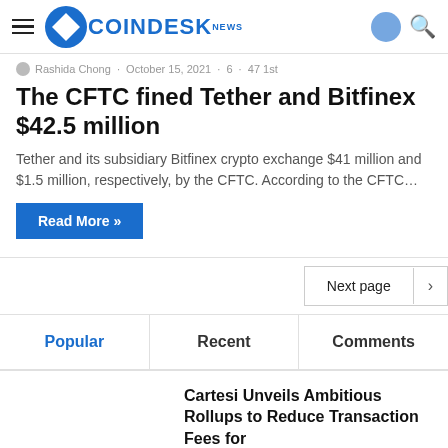CoinDesk News
Rashida Chong · October 15, 2021 · 6 · 47 1st
The CFTC fined Tether and Bitfinex $42.5 million
Tether and its subsidiary Bitfinex crypto exchange $41 million and $1.5 million, respectively, by the CFTC. According to the CFTC…
Read More »
Next page
Popular | Recent | Comments
Cartesi Unveils Ambitious Rollups to Reduce Transaction Fees for